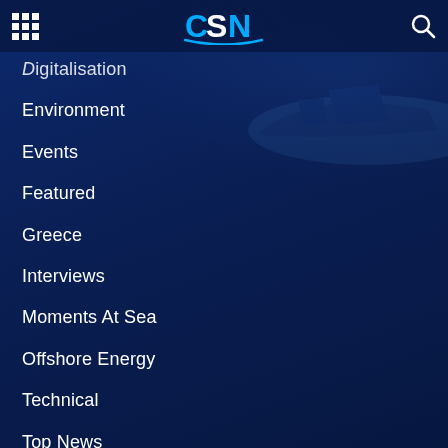CSN
Digitalisation
Environment
Events
Featured
Greece
Interviews
Moments At Sea
Offshore Energy
Technical
Top News
Vacancies
Videocasts
World
Yachts and Cruises